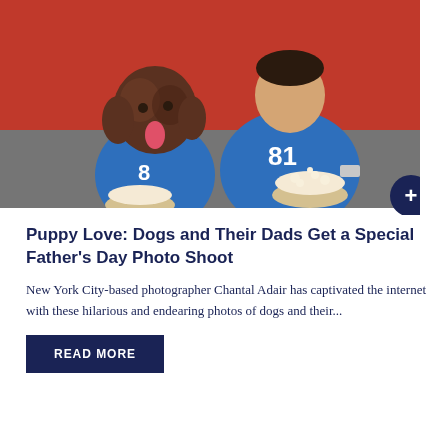[Figure (photo): A man and his dog, both wearing matching blue NFL jerseys with number 81, sitting on a gray couch in front of a red background. The dog (a large brown curly-haired breed) and the man are both holding bowls of popcorn. A dark navy circle with a white plus (+) sign is overlaid at the bottom right of the image.]
Puppy Love: Dogs and Their Dads Get a Special Father's Day Photo Shoot
New York City-based photographer Chantal Adair has captivated the internet with these hilarious and endearing photos of dogs and their...
READ MORE